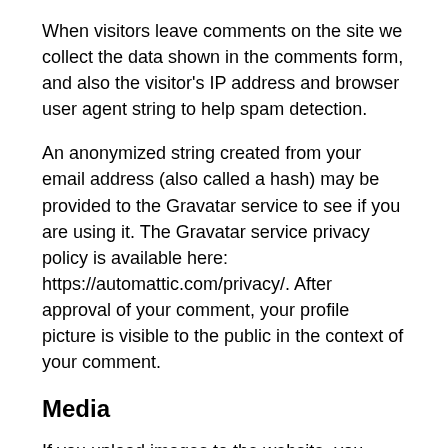When visitors leave comments on the site we collect the data shown in the comments form, and also the visitor's IP address and browser user agent string to help spam detection.
An anonymized string created from your email address (also called a hash) may be provided to the Gravatar service to see if you are using it. The Gravatar service privacy policy is available here: https://automattic.com/privacy/. After approval of your comment, your profile picture is visible to the public in the context of your comment.
Media
If you upload images to the website, you should avoid uploading images with embedded location data (EXIF GPS) included. Visitors to the website can download and extract any location data from images on the website.
Contact forms